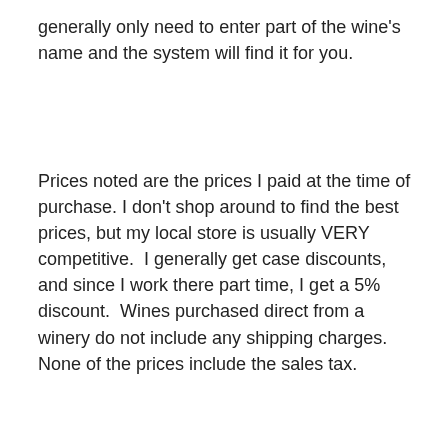generally only need to enter part of the wine's name and the system will find it for you.
Prices noted are the prices I paid at the time of purchase. I don't shop around to find the best prices, but my local store is usually VERY competitive. I generally get case discounts, and since I work there part time, I get a 5% discount. Wines purchased direct from a winery do not include any shipping charges. None of the prices include the sales tax.